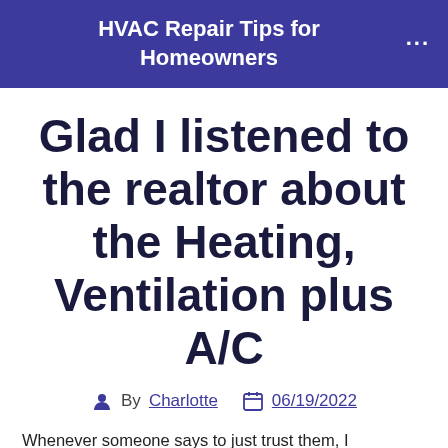HVAC Repair Tips for Homeowners
Glad I listened to the realtor about the Heating, Ventilation plus A/C
By Charlotte   06/19/2022
Whenever someone says to just trust them, I